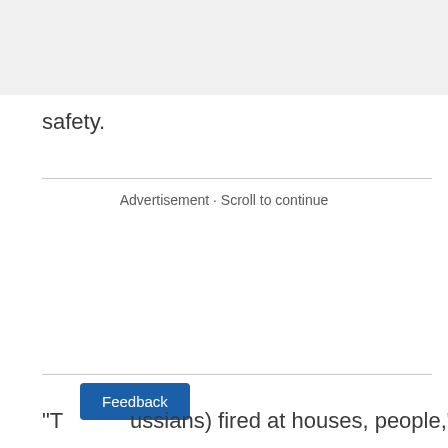safety.
Advertisement · Scroll to continue
"T[...ussians) fired at houses, people," she